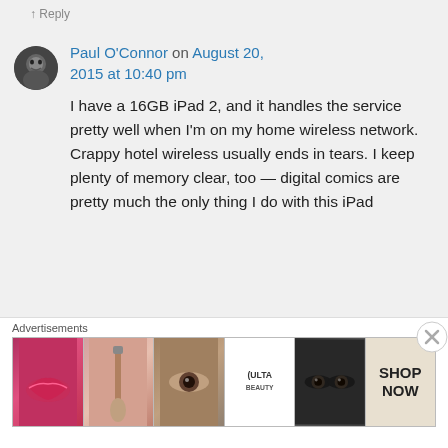↑ Reply
Paul O'Connor on August 20, 2015 at 10:40 pm
I have a 16GB iPad 2, and it handles the service pretty well when I'm on my home wireless network. Crappy hotel wireless usually ends in tears. I keep plenty of memory clear, too — digital comics are pretty much the only thing I do with this iPad
Advertisements
[Figure (photo): Ulta beauty advertisement banner with makeup imagery including lips, brush, eyes, Ulta logo, and Shop Now text]